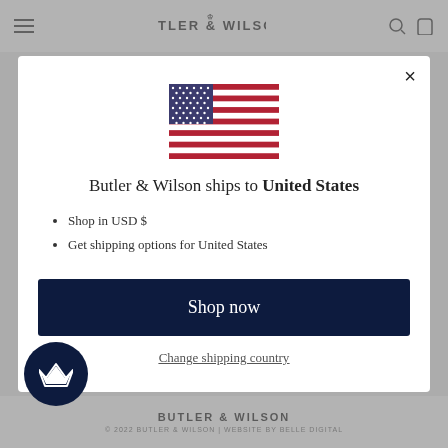BUTLER & WILSON
[Figure (illustration): US flag with stars and stripes]
Butler & Wilson ships to United States
Shop in USD $
Get shipping options for United States
Shop now
Change shipping country
BUTLER & WILSON | © 2022 BUTLER & WILSON | WEBSITE BY BELLE DIGITAL